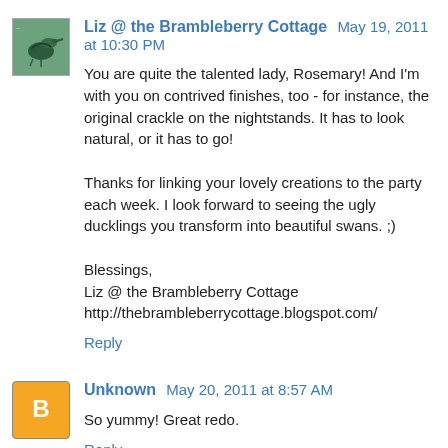[Figure (photo): Small avatar image of a bird illustration on a teal/green background]
Liz @ the Brambleberry Cottage May 19, 2011 at 10:30 PM
You are quite the talented lady, Rosemary! And I'm with you on contrived finishes, too - for instance, the original crackle on the nightstands. It has to look natural, or it has to go!

Thanks for linking your lovely creations to the party each week. I look forward to seeing the ugly ducklings you transform into beautiful swans. ;)

Blessings,
Liz @ the Brambleberry Cottage
http://thebrambleberrycottage.blogspot.com/
Reply
[Figure (logo): Orange circle with white letter B, Blogger avatar icon]
Unknown May 20, 2011 at 8:57 AM
So yummy! Great redo.
Reply